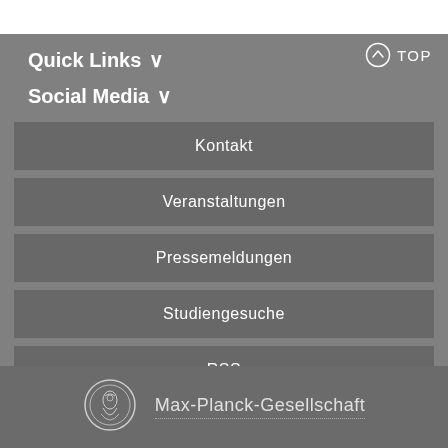TOP
Quick Links
Social Media
Kontakt
Veranstaltungen
Pressemeldungen
Studiengesuche
RSS
Max-Planck-Gesellschaft